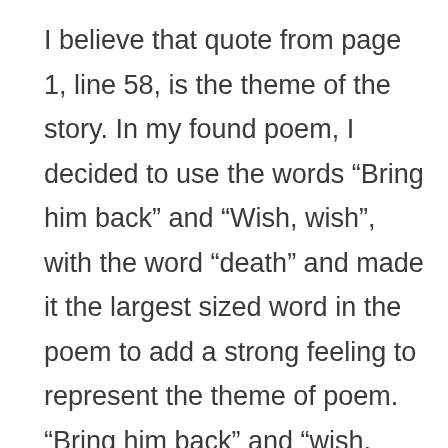I believe that quote from page 1, line 58, is the theme of the story. In my found poem, I decided to use the words “Bring him back” and “Wish, wish”, with the word “death” and made it the largest sized word in the poem to add a strong feeling to represent the theme of poem. “Bring him back” and “wish, wish” represented the theme of fate in “The Monkey’s Paw” because “wish, wish” meant that Mrs. White wanted Mr. White